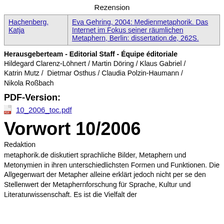Rezension
| Author | Reference |
| --- | --- |
| Hachenberg, Katja | Eva Gehring, 2004: Medienmetaphorik. Das Internet im Fokus seiner räumlichen Metaphern, Berlin: dissertation.de, 262S. |
Herausgeberteam - Editorial Staff - Équipe éditoriale
Hildegard Clarenz-Löhnert / Martin Döring / Klaus Gabriel / Katrin Mutz /  Dietmar Osthus / Claudia Polzin-Haumann / Nikola Roßbach
PDF-Version:
10_2006_toc.pdf
Vorwort 10/2006
Redaktion
metaphorik.de diskutiert sprachliche Bilder, Metaphern und Metonymien in ihren unterschiedlichsten Formen und Funktionen. Die Allgegenwart der Metapher alleine erklärt jedoch nicht per se den Stellenwert der Metaphernforschung für Sprache, Kultur und Literaturwissenschaft. Es ist die Vielfalt der